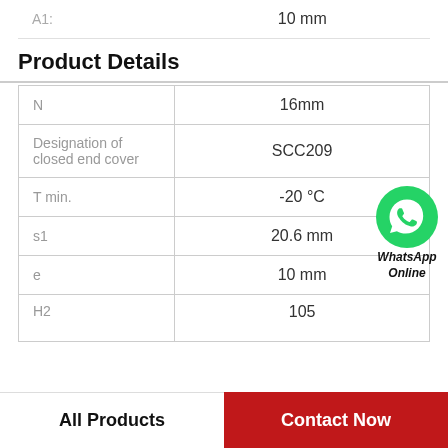| A1: | 10 mm |
Product Details
| N | 16mm |
| Designation of closed end cover | SCC209 |
| T min. | -20 °C |
| s1 | 20.6 mm |
| e | 10 mm |
| H2 | 105 |
All Products | Contact Now